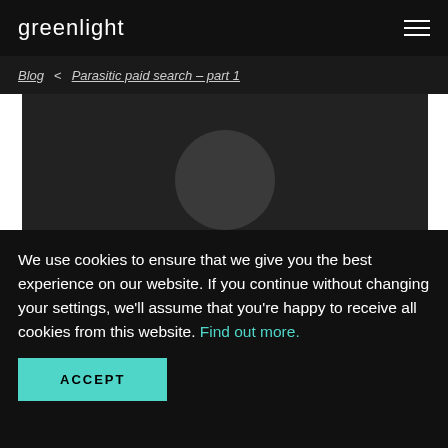greenlight
Blog  <  Parasitic paid search – part 1
[Figure (photo): Dark hero image with a circular shape centered at the bottom, white strips on left and right sides]
We use cookies to ensure that we give you the best experience on our website. If you continue without changing your settings, we'll assume that you're happy to receive all cookies from this website. Find out more.
ACCEPT